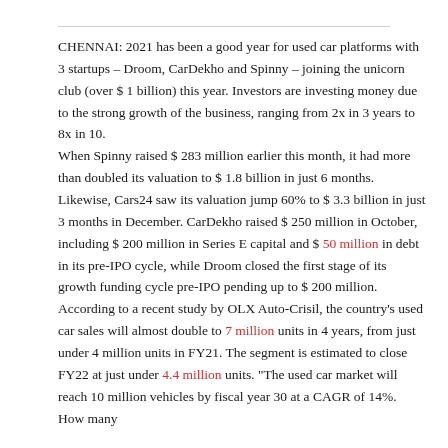CHENNAI: 2021 has been a good year for used car platforms with 3 startups – Droom, CarDekho and Spinny – joining the unicorn club (over $ 1 billion) this year. Investors are investing money due to the strong growth of the business, ranging from 2x in 3 years to 8x in 10.
When Spinny raised $ 283 million earlier this month, it had more than doubled its valuation to $ 1.8 billion in just 6 months. Likewise, Cars24 saw its valuation jump 60% to $ 3.3 billion in just 3 months in December. CarDekho raised $ 250 million in October, including $ 200 million in Series E capital and $ 50 million in debt in its pre-IPO cycle, while Droom closed the first stage of its growth funding cycle pre-IPO pending up to $ 200 million.
According to a recent study by OLX Auto-Crisil, the country's used car sales will almost double to 7 million units in 4 years, from just under 4 million units in FY21. The segment is estimated to close FY22 at just under 4.4 million units. "The used car market will reach 10 million vehicles by fiscal year 30 at a CAGR of 14%. How many